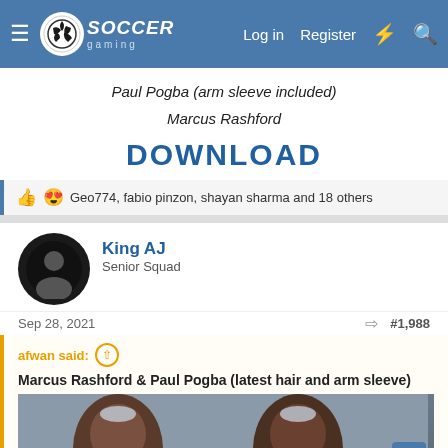Soccer Gaming — Log in  Register
Paul Pogba (arm sleeve included)
Marcus Rashford
DOWNLOAD
Geo774, fabio pinzon, shayan sharma and 18 others
King AJ
Senior Squad
Sep 28, 2021  #1,988
afwan said:
Marcus Rashford & Paul Pogba (latest hair and arm sleeve)
[Figure (photo): Two soccer player face renders side by side, showing Marcus Rashford and Paul Pogba with latest hair and arm sleeve in a stadium setting]